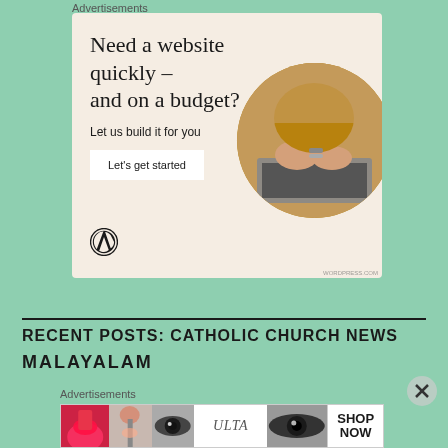Advertisements
[Figure (illustration): WordPress advertisement: 'Need a website quickly – and on a budget? Let us build it for you.' with a 'Let's get started' button, WordPress logo, and circular photo of person typing on a laptop.]
RECENT POSTS: CATHOLIC CHURCH NEWS
MALAYALAM
Advertisements
[Figure (illustration): ULTA beauty advertisement banner with makeup/cosmetics imagery and 'SHOP NOW' text.]